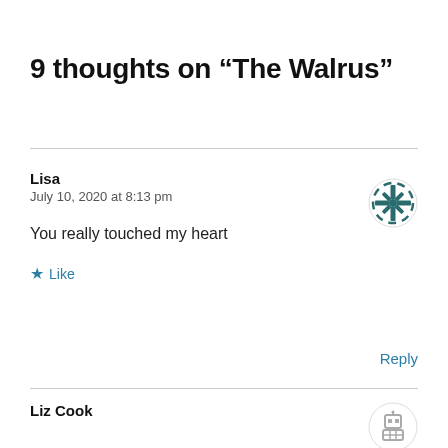9 thoughts on “The Walrus”
Lisa
July 10, 2020 at 8:13 pm
You really touched my heart
★ Like
Reply
Liz Cook